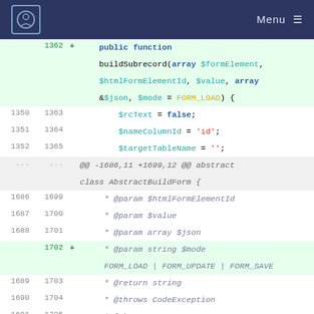Menu
[Figure (screenshot): Code diff view showing changes to a PHP file. Added lines show buildSubrecord function signature with new $mode parameter. Context lines show variable initializations and PHPDoc comments. Deleted line shows buildFile function signature.]